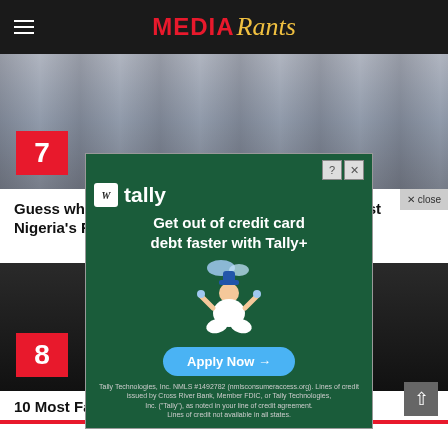MEDIA Rants
[Figure (photo): Basketball players sitting on a bench or court, wearing white uniforms with numbers. Number 7 badge in red at lower left.]
Guess which American rapper is set to play against Nigeria's Rivers Hoopers in new Basket...
[Figure (screenshot): Advertisement overlay: Tally - Get out of credit card debt faster with Tally+. Apply Now button. Tally Technologies disclaimer text.]
[Figure (photo): Dark background second article image with red number 8 badge.]
10 Most Fascinating Game of Thrones Characters